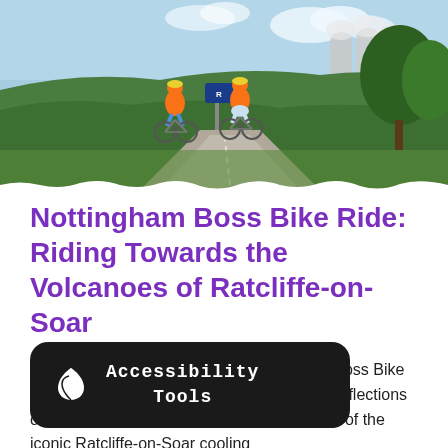[Figure (photo): Two cyclists in orange shirts and helmets riding bikes along a paved path, with green hedgerows and trees in background, industrial cooling towers visible in the distance, blue sky with clouds.]
Nottingham Boss Bike Ride: Riding Towards the Volcanoes of Ratcliffe-on-Soar
Our CEO Nick took on the latest leg of our Boss Bike Rides campaign last week, and shared his reflections on our changing world against the backdrop of the iconic Ratcliffe-on-Soar cooling
[Figure (infographic): Black rounded rectangle overlay with a white leaf icon on the left and white monospace text reading 'Accessibility Tools']